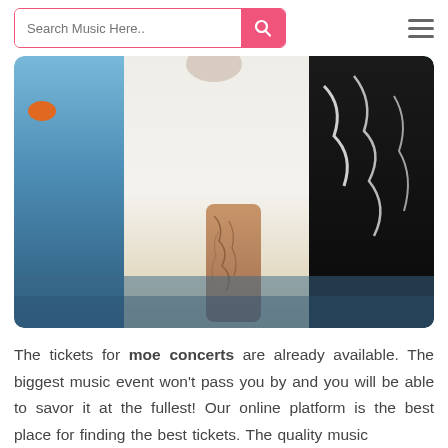Search Music Here..
[Figure (photo): Two people standing near water; one in a white short-sleeve shirt with a tattooed arm visible, the other in a black patterned outfit. Background shows blue water and an orange buoy.]
The tickets for moe concerts are already available. The biggest music event won't pass you by and you will be able to savor it at the fullest! Our online platform is the best place for finding the best tickets. The quality music